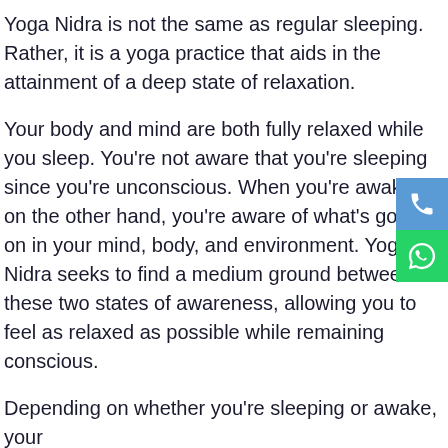Yoga Nidra is not the same as regular sleeping. Rather, it is a yoga practice that aids in the attainment of a deep state of relaxation.
Your body and mind are both fully relaxed while you sleep. You're not aware that you're sleeping since you're unconscious. When you're awake, on the other hand, you're aware of what's going on in your mind, body, and environment. Yoga Nidra seeks to find a medium ground between these two states of awareness, allowing you to feel as relaxed as possible while remaining conscious.
Depending on whether you're sleeping or awake, your
[Figure (other): Two floating action buttons on the right side: a blue phone button and a green WhatsApp button]